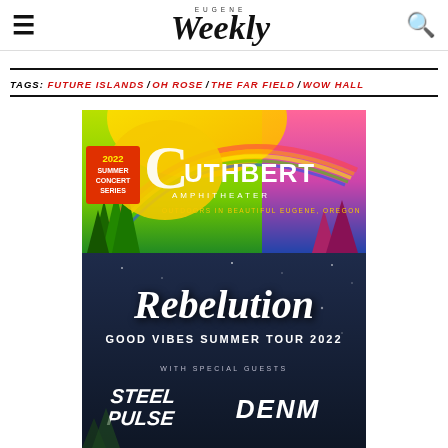Eugene Weekly
TAGS: FUTURE ISLANDS / OH ROSE / THE FAR FIELD / WOW HALL
[Figure (illustration): Cuthbert Amphitheater 2022 Summer Concert Series advertisement with colorful outdoor themed graphic showing trees, rainbow, and sun]
[Figure (illustration): Rebelution Good Vibes Summer Tour 2022 concert advertisement with dark blue background, featuring Steel Pulse and Denm as special guests]